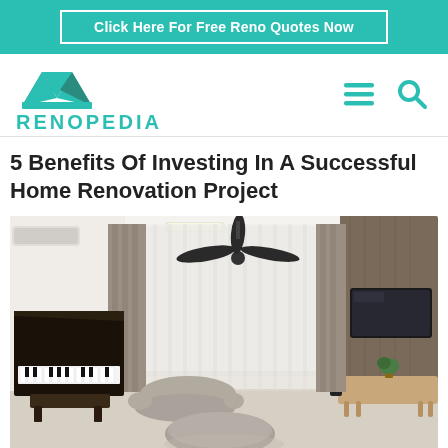Click Here For Free Reno Quotes Now
[Figure (logo): Renopedia logo with teal crown icon and teal text RENOPEDIA, plus hamburger menu and search icons]
5 Benefits Of Investing In A Successful Home Renovation Project
[Figure (photo): Interior of a modern renovated living room with a grand piano on the left, sheer curtains across large windows in the center, a ceiling fan, a minimalist sofa and ottoman, a TV mounted on a textured dark wall panel on the right, and a light wood TV console. Track lighting on the ceiling, air conditioning unit on the left wall.]